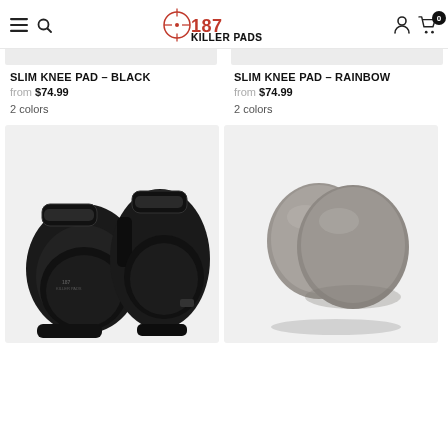187 KILLER PADS — navigation header with hamburger menu, search, logo, user account, and cart (0 items)
[Figure (photo): Partial top of product image for Slim Knee Pad - Black (cropped, light grey bar)]
[Figure (photo): Partial top of product image for Slim Knee Pad - Rainbow (cropped, light grey bar)]
SLIM KNEE PAD – BLACK
from $74.99
2 colors
SLIM KNEE PAD – RAINBOW
from $74.99
2 colors
[Figure (photo): Photo of black knee pads (187 Killer Pads Slim Knee Pad in black), showing two pads with straps on a light grey background]
[Figure (photo): Photo of grey replacement knee pad caps/inserts (two rounded grey plastic/foam caps) on a light grey background]